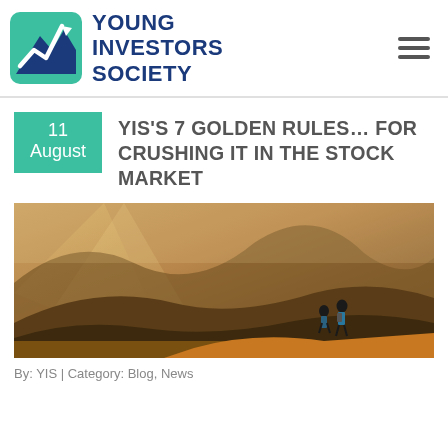[Figure (logo): Young Investors Society logo with green/blue mountain and upward arrow icon, and bold dark blue text reading YOUNG INVESTORS SOCIETY]
[Figure (other): Hamburger menu icon (three horizontal lines)]
11 August
YIS'S 7 GOLDEN RULES... FOR CRUSHING IT IN THE STOCK MARKET
[Figure (photo): Landscape mountain photo with warm golden light, two hikers silhouetted against dramatic hillside scenery]
By: YIS | Category: Blog, News